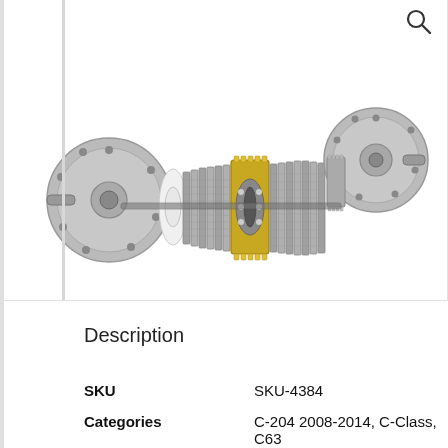[Figure (photo): Exploded view of a differential assembly (limited-slip differential) showing two flanged housings connected by a splined shaft with multiple friction disc plates and a central gear/roller bearing assembly. The components are spread horizontally revealing internal construction. A search/magnify icon appears in the top-right corner.]
Description
| SKU | SKU-4384 |
| Categories | C-204 2008-2014, C-Class, C63 |